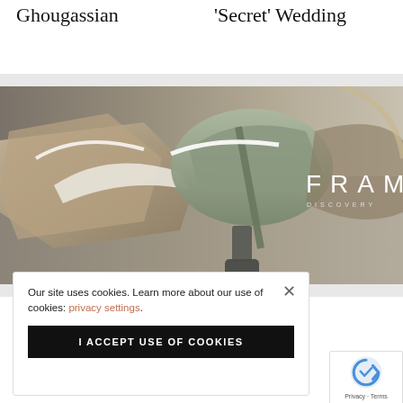Ghougassian
'Secret' Wedding
[Figure (photo): Advertisement banner for FRAME Discovery brand showing close-up of fashion shoes/heels with the text 'FRAME' and 'DISCOVERY' on a muted background]
Our site uses cookies. Learn more about our use of cookies: privacy settings.
I ACCEPT USE OF COOKIES
CELEBRITY STYLE